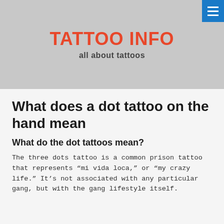TATTOO INFO
all about tattoos
What does a dot tattoo on the hand mean
What do the dot tattoos mean?
The three dots tattoo is a common prison tattoo that represents “mi vida loca,” or “my crazy life.” It’s not associated with any particular gang, but with the gang lifestyle itself.